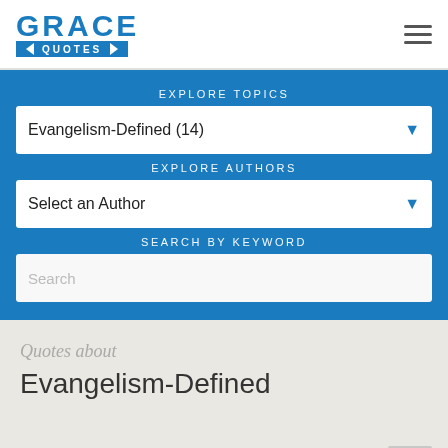GRACE QUOTES
EXPLORE TOPICS
Evangelism-Defined (14)
EXPLORE AUTHORS
Select an Author
SEARCH BY KEYWORD
Search
Quotes about
Evangelism-Defined